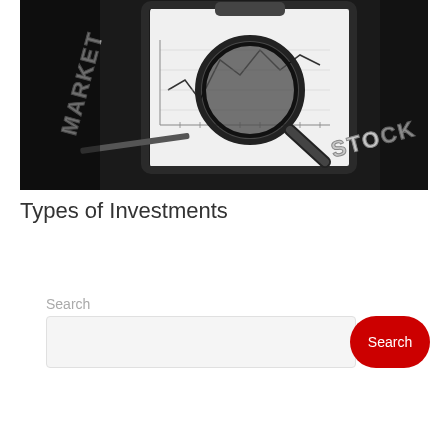[Figure (photo): Dark-themed photo showing a clipboard with a stock market chart graph under a large magnifying glass. The word 'MARKET' appears in silver 3D letters on the left side, and 'STOCK' appears in silver 3D letters on the lower right side. The clipboard displays a line chart typical of financial market data.]
Types of Investments
Search